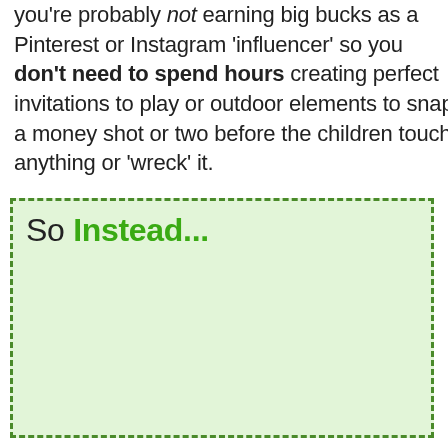you're probably not earning big bucks as a Pinterest or Instagram 'influencer' so you don't need to spend hours creating perfect invitations to play or outdoor elements to snap a money shot or two before the children touch anything or 'wreck' it.
So Instead...
[Figure (photo): Composite image inside a dashed green box showing: a browser window with outdoor play area photo of children, a tablet showing 'Learning Outcome 1 - Children have a strong sense of identity' with thumbnail photos, a blue slide with children playing, and a photo of a child playing outdoors.]